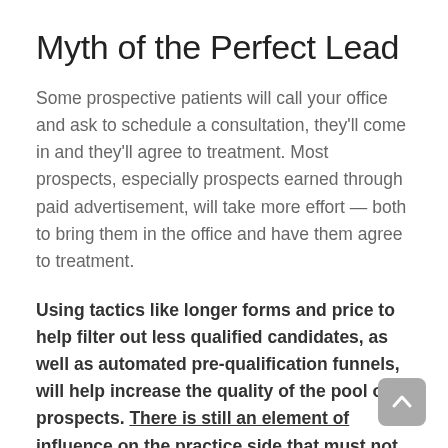Myth of the Perfect Lead
Some prospective patients will call your office and ask to schedule a consultation, they'll come in and they'll agree to treatment. Most prospects, especially prospects earned through paid advertisement, will take more effort — both to bring them in the office and have them agree to treatment.
Using tactics like longer forms and price to help filter out less qualified candidates, as well as automated pre-qualification funnels, will help increase the quality of the pool of prospects. There is still an element of influence on the practice side that must not be neglected.